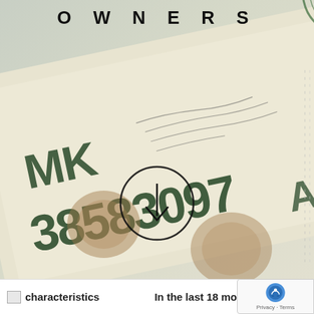OWNERS
[Figure (photo): Close-up photo of a financial document or stock certificate showing serial number MK 38583097A, with circular stamp marks and cursive handwriting, plus a circular download arrow icon overlaid in the center]
characteristics
In the last 18 mo